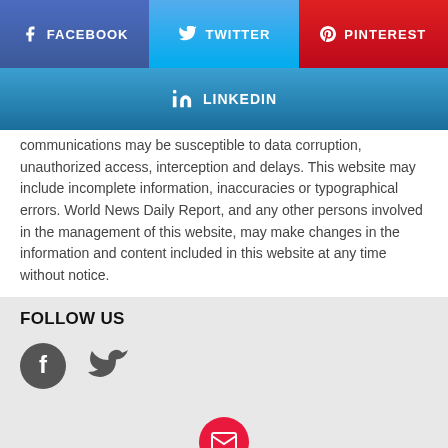[Figure (screenshot): Social share buttons: Facebook (blue), Twitter (cyan), Pinterest (red)]
[Figure (screenshot): LinkedIn share button (blue gradient)]
communications may be susceptible to data corruption, unauthorized access, interception and delays. This website may include incomplete information, inaccuracies or typographical errors. World News Daily Report, and any other persons involved in the management of this website, may make changes in the information and content included in this website at any time without notice.
FOLLOW US
[Figure (illustration): Facebook and Twitter social media icons (dark grey circular icons)]
[Figure (illustration): Red circular email icon with envelope, above signup card]
Get the best viral stories straight